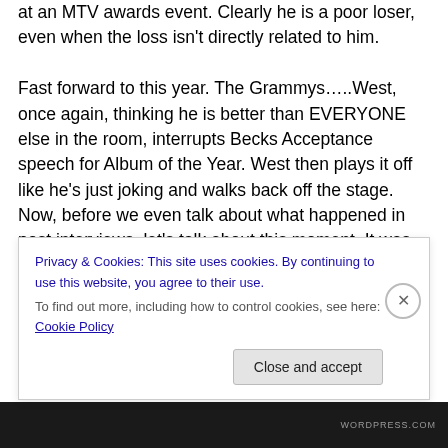at an MTV awards event.  Clearly he is a poor loser, even when the loss isn't directly related to him.

Fast forward to this year.  The Grammys…..West, once again, thinking he is better than EVERYONE else in the room, interrupts Becks Acceptance speech for Album of the Year.  West then plays it off like he's just joking and walks back off the stage.  Now, before we even talk about what happened in post interviews, let's talk about this moment.  It was BECK'S MOMENT, not Kanye West's.  Kanye West has no respect for anyone but himself.  You don't take away someone's moment with the thought, "Oh
Privacy & Cookies: This site uses cookies. By continuing to use this website, you agree to their use.
To find out more, including how to control cookies, see here: Cookie Policy
Close and accept
WORDPRESS.COM